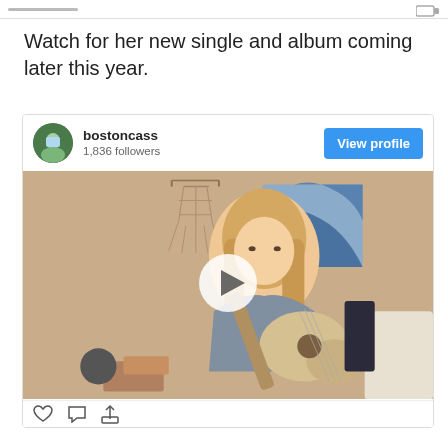Watch for her new single and album coming later this year.
[Figure (screenshot): Instagram embed card showing user 'bostoncass' with 1,836 followers, a 'View profile' button, and a video thumbnail of a young woman playing guitar in a bedroom with a macrame wall hanging. A play button is overlaid on the video.]
View more on Instagram